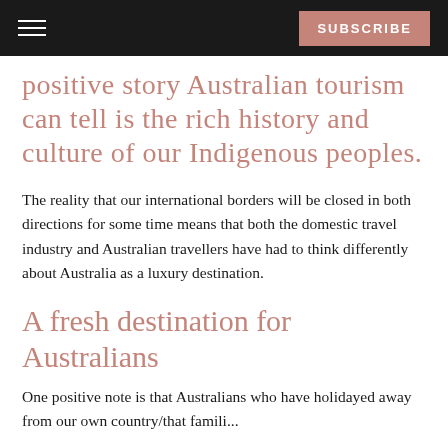SUBSCRIBE
positive story Australian tourism can tell is the rich history and culture of our Indigenous peoples.
The reality that our international borders will be closed in both directions for some time means that both the domestic travel industry and Australian travellers have had to think differently about Australia as a luxury destination.
A fresh destination for Australians
One positive note is that Australians who have holidayed away from our own country/that famili...